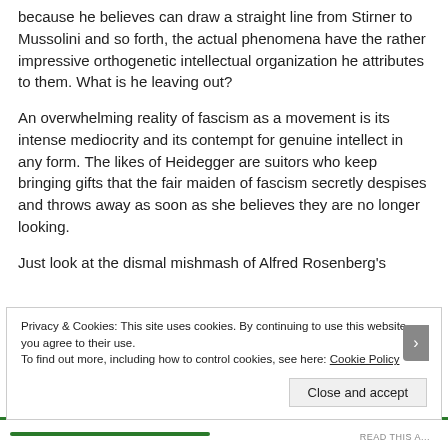because he believes can draw a straight line from Stirner to Mussolini and so forth, the actual phenomena have the rather impressive orthogenetic intellectual organization he attributes to them. What is he leaving out?
An overwhelming reality of fascism as a movement is its intense mediocrity and its contempt for genuine intellect in any form. The likes of Heidegger are suitors who keep bringing gifts that the fair maiden of fascism secretly despises and throws away as soon as she believes they are no longer looking.
Just look at the dismal mishmash of Alfred Rosenberg's
Privacy & Cookies: This site uses cookies. By continuing to use this website, you agree to their use.
To find out more, including how to control cookies, see here: Cookie Policy
Close and accept